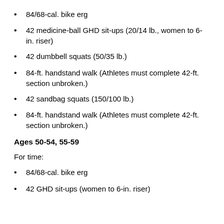84/68-cal. bike erg
42 medicine-ball GHD sit-ups (20/14 lb., women to 6-in. riser)
42 dumbbell squats (50/35 lb.)
84-ft. handstand walk (Athletes must complete 42-ft. section unbroken.)
42 sandbag squats (150/100 lb.)
84-ft. handstand walk (Athletes must complete 42-ft. section unbroken.)
Ages 50-54, 55-59
For time:
84/68-cal. bike erg
42 GHD sit-ups (women to 6-in. riser)